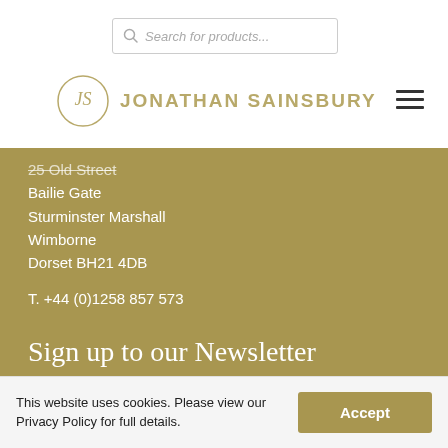[Figure (screenshot): Search bar with magnifying glass icon and placeholder text 'Search for products...']
[Figure (logo): Jonathan Sainsbury logo: circular JS monogram in gold, with 'JONATHAN SAINSBURY' text in gold caps]
[Figure (other): Hamburger menu icon (three horizontal lines)]
25 Old Street (partially cut off)
Bailie Gate
Sturminster Marshall
Wimborne
Dorset BH21 4DB
T. +44 (0)1258 857 573
Sign up to our Newsletter
* indicates required
Email Address *
This website uses cookies. Please view our Privacy Policy for full details.